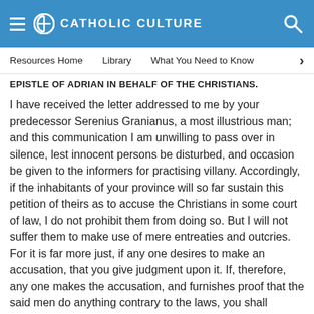CATHOLIC CULTURE
Resources Home    Library    What You Need to Know
EPISTLE OF ADRIAN IN BEHALF OF THE CHRISTIANS.
I have received the letter addressed to me by your predecessor Serenius Granianus, a most illustrious man; and this communication I am unwilling to pass over in silence, lest innocent persons be disturbed, and occasion be given to the informers for practising villany. Accordingly, if the inhabitants of your province will so far sustain this petition of theirs as to accuse the Christians in some court of law, I do not prohibit them from doing so. But I will not suffer them to make use of mere entreaties and outcries. For it is far more just, if any one desires to make an accusation, that you give judgment upon it. If, therefore, any one makes the accusation, and furnishes proof that the said men do anything contrary to the laws, you shall